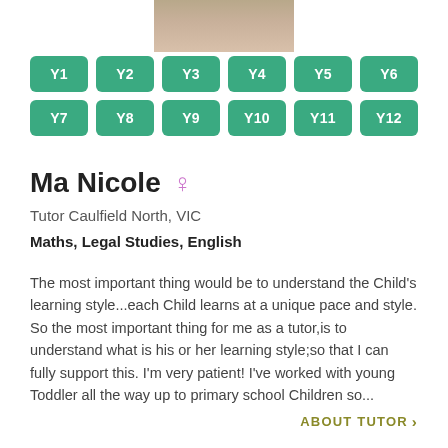[Figure (photo): Partial photo of a tutor at the top of the profile card]
Y1 Y2 Y3 Y4 Y5 Y6 Y7 Y8 Y9 Y10 Y11 Y12
Ma Nicole
Tutor Caulfield North, VIC
Maths, Legal Studies, English
The most important thing would be to understand the Child's learning style...each Child learns at a unique pace and style. So the most important thing for me as a tutor,is to understand what is his or her learning style;so that I can fully support this. I'm very patient! I've worked with young Toddler all the way up to primary school Children so...
ABOUT TUTOR >